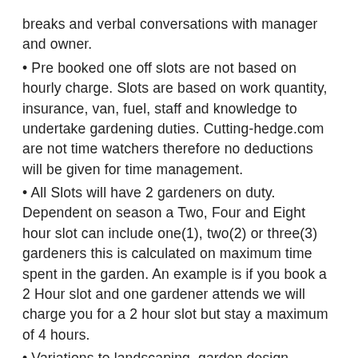breaks and verbal conversations with manager and owner.
Pre booked one off slots are not based on hourly charge. Slots are based on work quantity, insurance, van, fuel, staff and knowledge to undertake gardening duties. Cutting-hedge.com are not time watchers therefore no deductions will be given for time management.
All Slots will have 2 gardeners on duty. Dependent on season a Two, Four and Eight hour slot can include one(1), two(2) or three(3) gardeners this is calculated on maximum time spent in the garden. An example is if you book a 2 Hour slot and one gardener attends we will charge you for a 2 hour slot but stay a maximum of 4 hours.
Variations to landscaping, garden design, fencing, turfing, artificial grass and any other outlined job or quotation will be charged for at a given hourly rate per